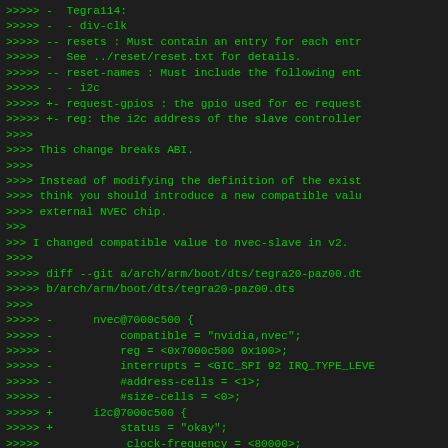>>>>> -  Tegra114:
>>>>> -  - div-clk
>>>>> -- resets : Must contain an entry for each entr
>>>>> -  See ../reset/reset.txt for details.
>>>>> -- reset-names : Must include the following en
>>>>> -  - i2c
>>>>> +- request-gpios : the gpio used for ec reques
>>>>> +- reg: the i2c address of the slave controlle
>>>>
>>>> This change breaks ABI.
>>>>
>>>> Instead of modifying the definition of the exis
>>>> think you should introduce a new compatible val
>>>> external NVEC chip.
>>>
>>> I changed compatible value to nvec-slave in v2.
>>>>
>>>>> diff --git a/arch/arm/boot/dts/tegra20-paz00.d
>>>>> b/arch/arm/boot/dts/tegra20-paz00.dts
>>>>
>>>>> -      nvec@7000c500 {
>>>>> -          compatible = "nvidia,nvec";
>>>>> -          reg = <0x7000c500 0x100>;
>>>>> -          interrupts = <GIC_SPI 92 IRQ_TYPE_LEVE
>>>>> -          #address-cells = <1>;
>>>>> -          #size-cells = <0>;
>>>>> +      i2c@7000c500 {
>>>>> +          status = "okay";
>>>>>             clock-frequency = <80000>;
>>>>> -          request-gpios = <&gpio TEGRA_GPIO(V,
>>>>> -          slave-addr = <138>;